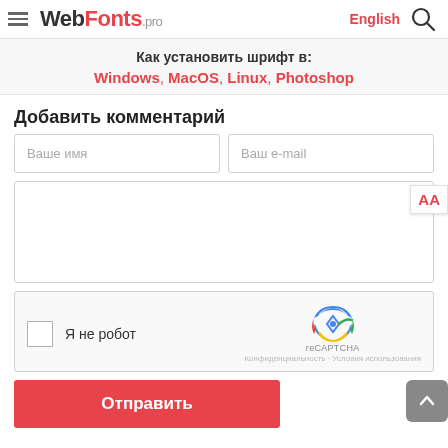WebFonts.pro — English
Как установить шрифт в: Windows, MacOS, Linux, Photoshop
Добавить комментарий
Ваше имя
Ваш e-mail
[Figure (screenshot): Comment textarea with AA resize button]
[Figure (screenshot): reCAPTCHA widget: checkbox, Я не робот, logo, Конфиденциальность - Условия использования]
Отправить